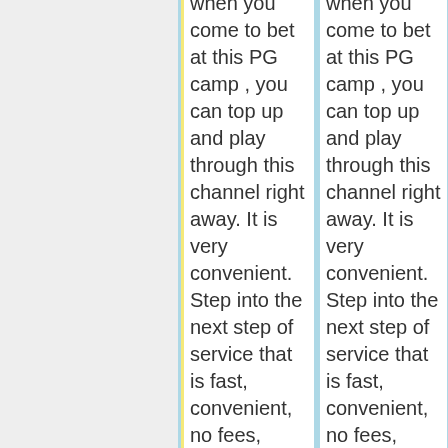when you come to bet at this PG camp , you can top up and play through this channel right away. It is very convenient. Step into the next step of service that is fast, convenient, no fees, easy to use, top-up, just press transfer to the number that we inform you, convenient, reduce a lot of wasted time.<br><br>Recommended games for PG camps. Nice to play. Lots of
when you come to bet at this PG camp , you can top up and play through this channel right away. It is very convenient. Step into the next step of service that is fast, convenient, no fees, easy to use, top-up, just press transfer to the number that we inform you, convenient, reduce a lot of wasted time.<br><br>Recommended games for PG camps. Nice to play. Lots of